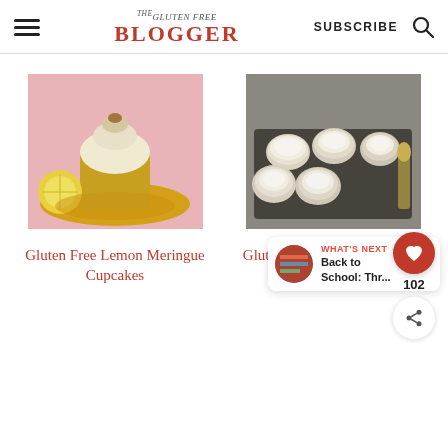THE GLUTEN FREE BLOGGER | SUBSCRIBE
[Figure (photo): Gluten free lemon meringue cupcake on yellow plate with lemon slices and pink background]
[Figure (photo): Gluten free amaretti biscuits dusted with powdered sugar on a dark baking tray]
Gluten Free Lemon Meringue Cupcakes
Gluten Free Amaretti Biscuits
102
WHAT'S NEXT → Back to School: Thr...